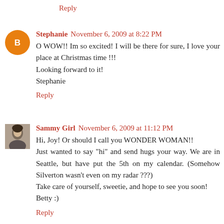Reply
Stephanie  November 6, 2009 at 8:22 PM
O WOW!! Im so excited! I will be there for sure, I love your place at Christmas time !!!
Looking forward to it!
Stephanie
Reply
Sammy Girl  November 6, 2009 at 11:12 PM
Hi, Joy! Or should I call you WONDER WOMAN!!
Just wanted to say "hi" and send hugs your way. We are in Seattle, but have put the 5th on my calendar. (Somehow Silverton wasn't even on my radar ???)
Take care of yourself, sweetie, and hope to see you soon!
Betty :)
Reply